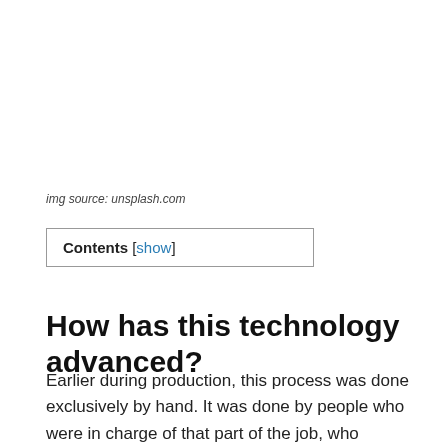img source: unsplash.com
Contents [show]
How has this technology advanced?
Earlier during production, this process was done exclusively by hand. It was done by people who were in charge of that part of the job, who stamped the decorations on the bottles with the help of special tools. This is how printing used to be